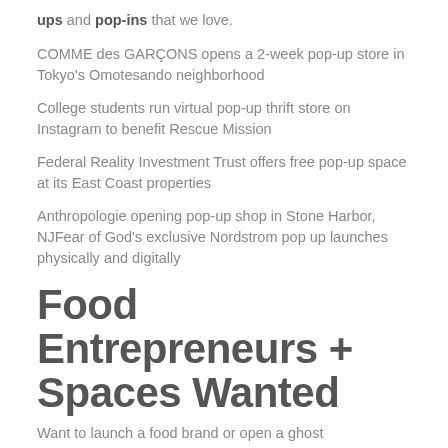ups and pop-ins that we love.
COMME des GARÇONS opens a 2-week pop-up store in Tokyo's Omotesando neighborhood
College students run virtual pop-up thrift store on Instagram to benefit Rescue Mission
Federal Reality Investment Trust offers free pop-up space at its East Coast properties
Anthropologie opening pop-up shop in Stone Harbor, NJFear of God's exclusive Nordstrom pop up launches physically and digitally
Food Entrepreneurs + Spaces Wanted
Want to launch a food brand or open a ghost